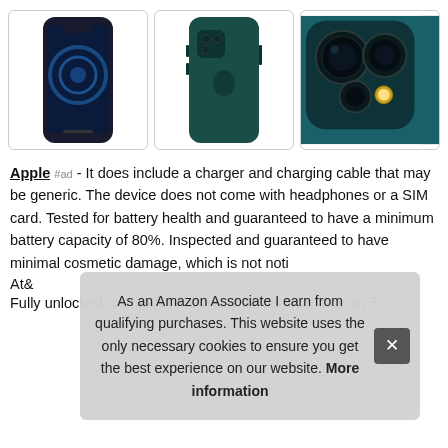[Figure (photo): Three product images of Apple iPhone 12 Pro in Pacific Blue: front view showing screen, back view showing Apple logo, and close-up of triple camera system]
Apple #ad - It does include a charger and charging cable that may be generic. The device does not come with headphones or a SIM card. Tested for battery health and guaranteed to have a minimum battery capacity of 80%. Inspected and guaranteed to have minimal cosmetic damage, which is not noti
As an Amazon Associate I earn from qualifying purchases. This website uses the only necessary cookies to ensure you get the best experience on our website. More information
At&
Fully unlocked, compatible with any carrier of choice on 5